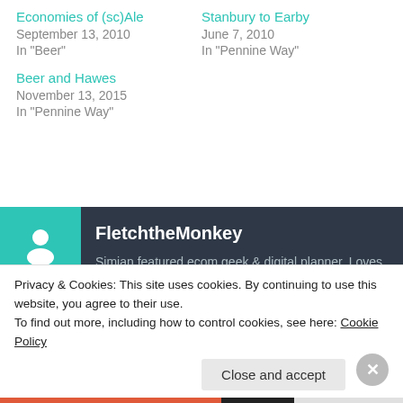Economies of (sc)Ale
September 13, 2010
In "Beer"
Stanbury to Earby
June 7, 2010
In "Pennine Way"
Beer and Hawes
November 13, 2015
In "Pennine Way"
FletchtheMonkey
Simian featured ecom geek & digital planner. Loves maps, beer, wife & cats. Worked @republicfasion @caratuk @trentuni. Written for
Privacy & Cookies: This site uses cookies. By continuing to use this website, you agree to their use.
To find out more, including how to control cookies, see here: Cookie Policy
Close and accept